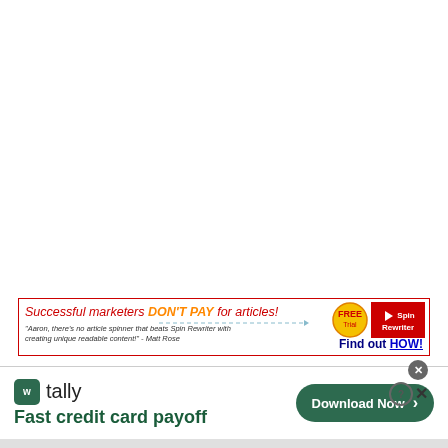[Figure (infographic): Advertisement banner for Spin Rewriter with text 'Successful marketers DON'T PAY for articles!' and a FREE badge, Spin Rewriter logo, quote from Matt Rose, and 'Find out HOW!' call to action]
[Figure (infographic): Advertisement for Tally app with logo, tagline 'Fast credit card payoff', and 'Download Now' button. Close buttons visible in top right.]